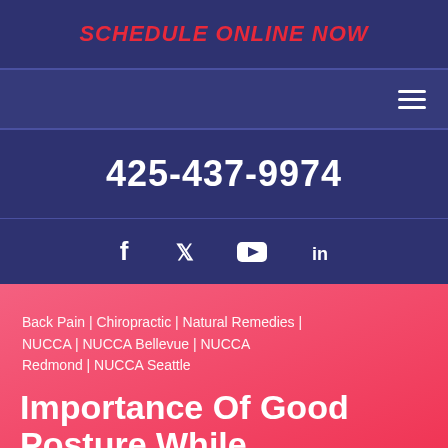SCHEDULE ONLINE NOW
[Figure (other): Navigation bar with hamburger menu icon]
425-437-9974
[Figure (other): Social media icons: Facebook, Twitter, YouTube, LinkedIn]
Back Pain | Chiropractic | Natural Remedies | NUCCA | NUCCA Bellevue | NUCCA Redmond | NUCCA Seattle
Importance Of Good Posture While Exercising